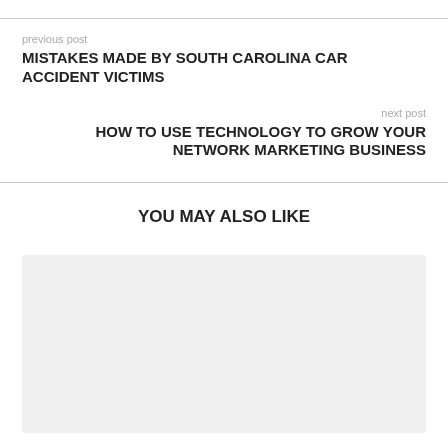previous post
MISTAKES MADE BY SOUTH CAROLINA CAR ACCIDENT VICTIMS
next post
HOW TO USE TECHNOLOGY TO GROW YOUR NETWORK MARKETING BUSINESS
YOU MAY ALSO LIKE
[Figure (photo): Light gray placeholder image block]